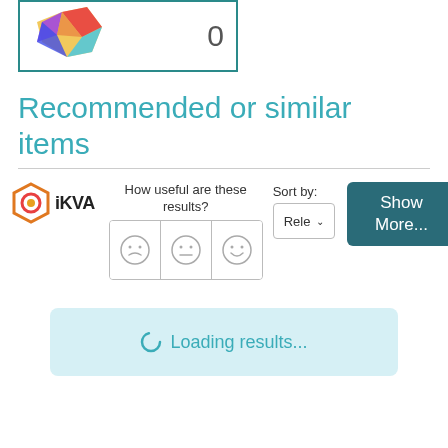[Figure (logo): Colorful star/polygon logo in a bordered box with the number 0]
Recommended or similar items
[Figure (screenshot): OIKVA logo with hexagon icon, feedback smiley face rating buttons (sad, neutral, happy), Sort by Rele dropdown, and Show More... button]
Loading results...